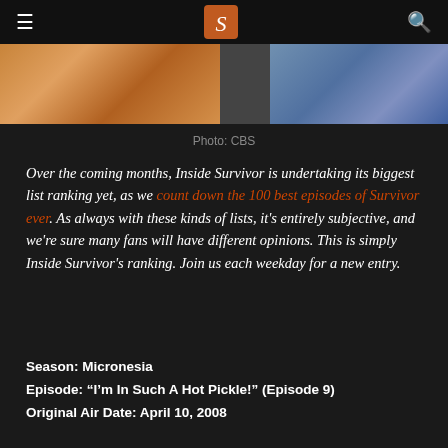Inside Survivor
[Figure (photo): Cropped photo strip showing two images side by side: left shows a person with warm skin tones, right shows a person in a blue/purple shirt]
Photo: CBS
Over the coming months, Inside Survivor is undertaking its biggest list ranking yet, as we count down the 100 best episodes of Survivor ever. As always with these kinds of lists, it's entirely subjective, and we're sure many fans will have different opinions. This is simply Inside Survivor's ranking. Join us each weekday for a new entry.
Season: Micronesia
Episode: “I’m In Such A Hot Pickle!” (Episode 9)
Original Air Date: April 10, 2008